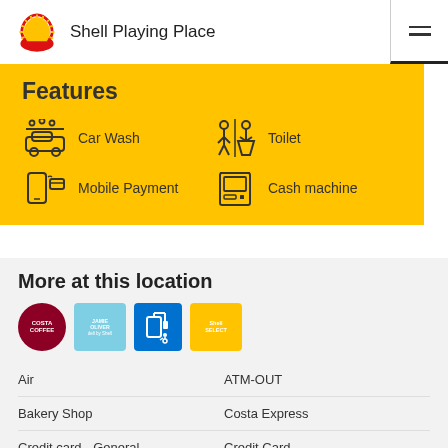Shell Playing Place
Features
Car Wash
Toilet
Mobile Payment
Cash machine
More at this location
[Figure (logo): Costa Coffee logo]
[Figure (logo): Jamie Oliver deli by Shell logo]
[Figure (logo): Fuel/accessibility pump logo]
[Figure (logo): Shell Select logo]
Air
ATM-OUT
Bakery Shop
Costa Express
Credit card - General
Credit Card
Jamie Oliver deli by Shell
fuelService
Disabled Facilities
Fleet Card